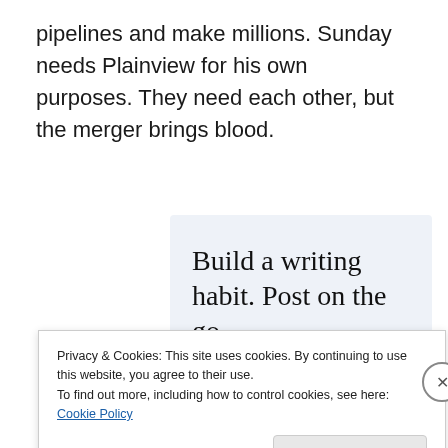pipelines and make millions. Sunday needs Plainview for his own purposes. They need each other, but the merger brings blood.
[Figure (illustration): Advertisement box with light blue background. Large serif text reads 'Build a writing habit. Post on the go.' with a 'GET THE APP' link and WordPress logo icon.]
Privacy & Cookies: This site uses cookies. By continuing to use this website, you agree to their use.
To find out more, including how to control cookies, see here: Cookie Policy
Close and accept